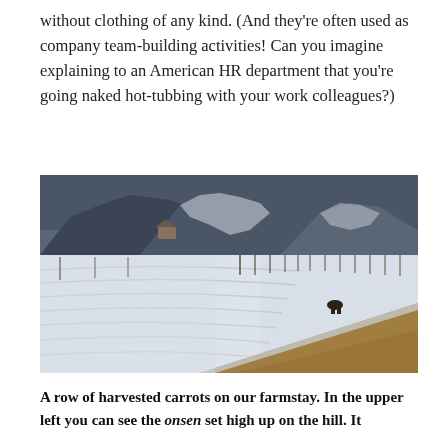without clothing of any kind. (And they're often used as company team-building activities! Can you imagine explaining to an American HR department that you're going naked hot-tubbing with your work colleagues?)
[Figure (photo): A winter landscape photograph showing snow-covered fields with rows of harvested carrots forming furrows. A dirt mound runs diagonally from the foreground to the right. In the background, snow-dusted mountains rise under a grey sky, with what appears to be an onsen building visible on the upper left hillside.]
A row of harvested carrots on our farmstay. In the upper left you can see the onsen set high up on the hill. It